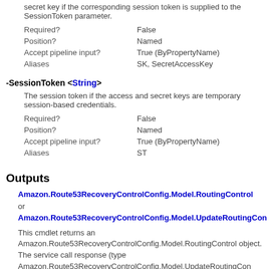secret key if the corresponding session token is supplied to the SessionToken parameter.
| Required? | False |
| Position? | Named |
| Accept pipeline input? | True (ByPropertyName) |
| Aliases | SK, SecretAccessKey |
-SessionToken <String>
The session token if the access and secret keys are temporary session-based credentials.
| Required? | False |
| Position? | Named |
| Accept pipeline input? | True (ByPropertyName) |
| Aliases | ST |
Outputs
Amazon.Route53RecoveryControlConfig.Model.RoutingControl or Amazon.Route53RecoveryControlConfig.Model.UpdateRoutingCon
This cmdlet returns an Amazon.Route53RecoveryControlConfig.Model.RoutingControl object. The service call response (type Amazon.Route53RecoveryControlConfig.Model.UpdateRoutingCon